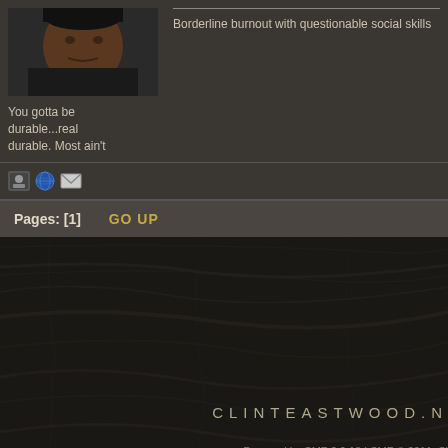[Figure (photo): User avatar photo of a person, dark background, approximately 150x88px]
You gotta be durable...real durable. Most ain't
Borderline burnout with questionable social skills
Pages: [1]   GO UP
CLINTEASTWOOD.N
Powered by SMF 2.0.18 | SMF © 2011, Si
XHTML   RSS   WAP2
Page created in 0.093 seconds with 2